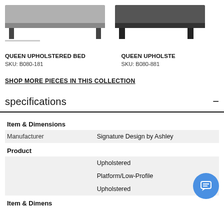[Figure (photo): Two queen upholstered beds shown side by side at top of page - left bed in gray fabric, right bed partially visible in darker fabric]
QUEEN UPHOLSTERED BED
SKU: B080-181
QUEEN UPHOLSTE...
SKU: B080-881
SHOP MORE PIECES IN THIS COLLECTION
specifications
| Item & Dimensions |  |
| Manufacturer | Signature Design by Ashley |
| Product |  |
|  | Upholstered |
|  | Platform/Low-Profile |
|  | Upholstered |
| Item & Dimensions |  |